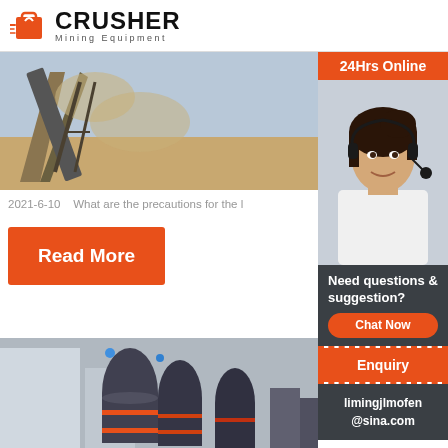CRUSHER Mining Equipment
[Figure (photo): Mining conveyor belt with dust and aggregate material, outdoor industrial scene]
precautions in the use of limestone crush
2021-6-10   What are the precautions for the l
Read More
[Figure (photo): Industrial grinding/milling machines in a factory setting, dark heavy equipment with red accents]
Impor Safety Preca
[Figure (photo): Customer service representative with headset, sidebar widget showing 24Hrs Online support]
Need questions & suggestion?
Chat Now
Enquiry
limingjlmofen@sina.com